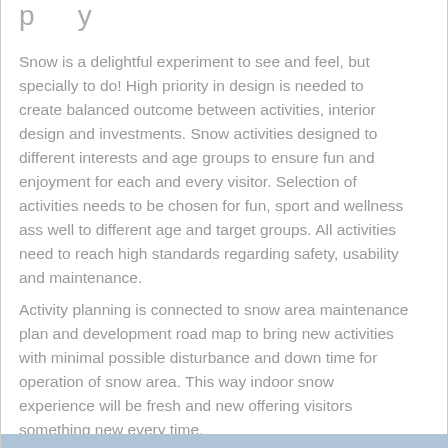p...y
Snow is a delightful experiment to see and feel, but specially to do! High priority in design is needed to create balanced outcome between activities, interior design and investments. Snow activities designed to different interests and age groups to ensure fun and enjoyment for each and every visitor. Selection of activities needs to be chosen for fun, sport and wellness ass well to different age and target groups. All activities need to reach high standards regarding safety, usability and maintenance.
Activity planning is connected to snow area maintenance plan and development road map to bring new activities with minimal possible disturbance and down time for operation of snow area. This way indoor snow experience will be fresh and new offering visitors something new every time.